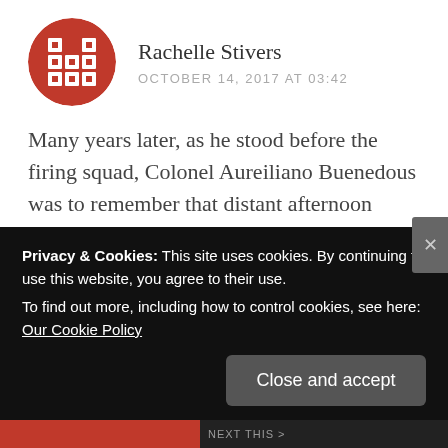Rachelle Stivers
OCTOBER 14, 2017 AT 03:42
Many years later, as he stood before the firing squad, Colonel Aureiliano Buenedous was to remember that distant afternoon when his father took him to discover ice.
Marquez, 100 Years of Solitude
Like
Privacy & Cookies: This site uses cookies. By continuing to use this website, you agree to their use.
To find out more, including how to control cookies, see here: Our Cookie Policy
Close and accept